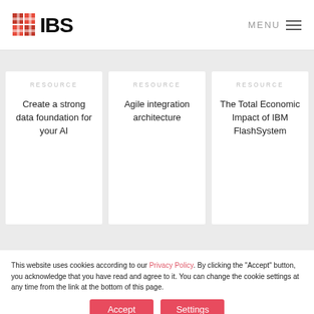[Figure (logo): IBS logo with red grid icon and bold IBS text]
MENU
[Figure (infographic): Three resource cards on grey background: 'Create a strong data foundation for your AI', 'Agile integration architecture', 'The Total Economic Impact of IBM FlashSystem']
This website uses cookies according to our Privacy Policy. By clicking the "Accept" button, you acknowledge that you have read and agree to it. You can change the cookie settings at any time from the link at the bottom of this page.
Accept
Settings